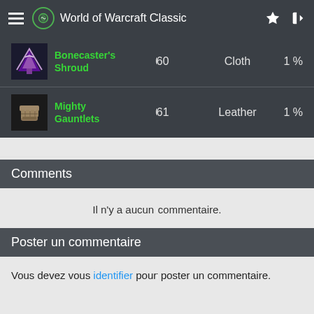World of Warcraft Classic
| Item | Level | Type | % |
| --- | --- | --- | --- |
| Bonecaster's Shroud | 60 | Cloth | 1 % |
| Mighty Gauntlets | 61 | Leather | 1 % |
Comments
Il n'y a aucun commentaire.
Poster un commentaire
Vous devez vous identifier pour poster un commentaire.